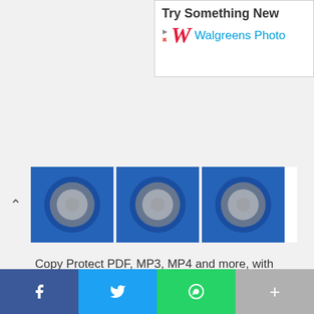[Figure (screenshot): Walgreens Photo advertisement banner with 'Try Something New' text and Walgreens logo]
[Figure (photo): USB flash drives carousel showing three blue USB drives with chrome connectors, with an up chevron arrow on the left]
Copy Protect PDF, MP3, MP4 and more, with Nexcopy USB Duplicator Systems .
[Figure (screenshot): Dash In advertisement: Dash In | Food, Gas, & More - Full Service Gas Station & Convenient Store, & Kitchen.]
[Figure (infographic): Social share bar with Facebook, Twitter, WhatsApp, and more (+) buttons]